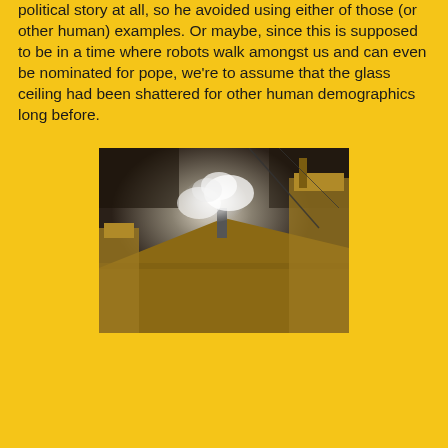political story at all, so he avoided using either of those (or other human) examples. Or maybe, since this is supposed to be in a time where robots walk amongst us and can even be nominated for pope, we're to assume that the glass ceiling had been shattered for other human demographics long before.
[Figure (photo): A nighttime photograph of white smoke rising from the chimney on the roof of the Sistine Chapel at the Vatican, with a dark dramatic sky in the background.]
[Figure (logo): Creative Commons BY-NC license badge]
by Aleteia Image Partners
John Mutford at 6/09/2014
Share